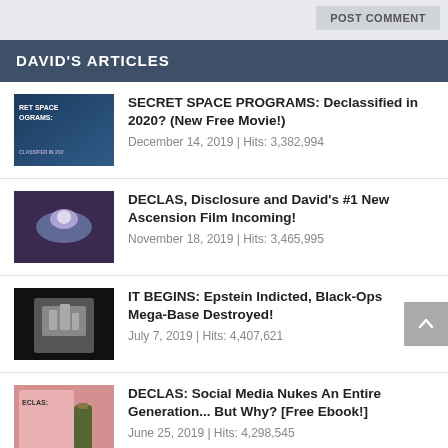POST COMMENT
DAVID'S ARTICLES
SECRET SPACE PROGRAMS: Declassified in 2020? (New Free Movie!)
December 14, 2019 | Hits: 3,382,994
DECLAS, Disclosure and David's #1 New Ascension Film Incoming!
November 18, 2019 | Hits: 3,465,995
IT BEGINS: Epstein Indicted, Black-Ops Mega-Base Destroyed!
July 7, 2019 | Hits: 4,407,621
DECLAS: Social Media Nukes An Entire Generation... But Why? [Free Ebook!]
June 25, 2019 | Hits: 4,298,545